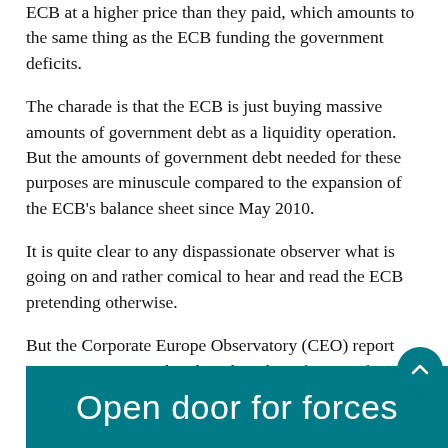ECB at a higher price than they paid, which amounts to the same thing as the ECB funding the government deficits.
The charade is that the ECB is just buying massive amounts of government debt as a liquidity operation. But the amounts of government debt needed for these purposes are minuscule compared to the expansion of the ECB's balance sheet since May 2010.
It is quite clear to any dispassionate observer what is going on and rather comical to hear and read the ECB pretending otherwise.
But the Corporate Europe Observatory (CEO) report raises a separate and no less disturbing feature of ECB operations.
This is the front cover of the Corporate Europe Observatory (CEO) Report – it is very stark.
[Figure (other): Teal/dark cyan banner at the bottom showing beginning of text 'Open door for forces' in white on a teal background, representing the front cover of the Corporate Europe Observatory (CEO) Report]